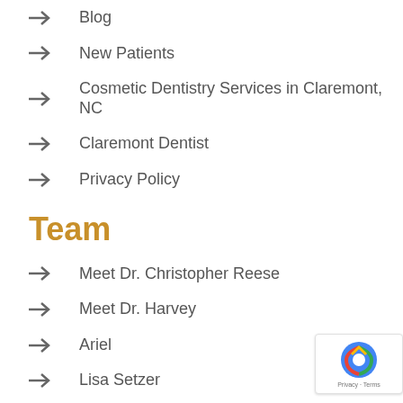Blog
New Patients
Cosmetic Dentistry Services in Claremont, NC
Claremont Dentist
Privacy Policy
Team
Meet Dr. Christopher Reese
Meet Dr. Harvey
Ariel
Lisa Setzer